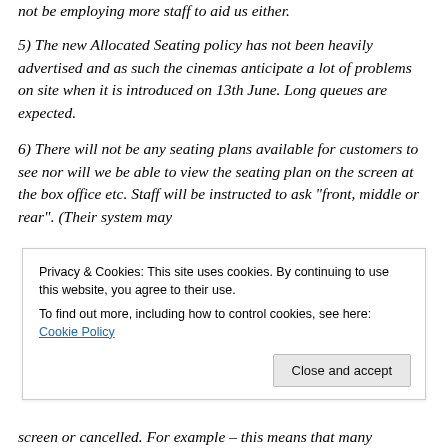not be employing more staff to aid us either.
5) The new Allocated Seating policy has not been heavily advertised and as such the cinemas anticipate a lot of problems on site when it is introduced on 13th June. Long queues are expected.
6) There will not be any seating plans available for customers to see nor will we be able to view the seating plan on the screen at the box office etc. Staff will be instructed to ask "front, middle or rear". (Their system may
Privacy & Cookies: This site uses cookies. By continuing to use this website, you agree to their use. To find out more, including how to control cookies, see here: Cookie Policy
Close and accept
screen or cancelled. For example – this means that many